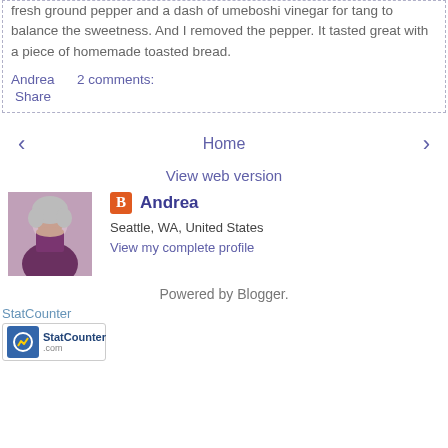fresh ground pepper and a dash of umeboshi vinegar for tang to balance the sweetness. And I removed the pepper. It tasted great with a piece of homemade toasted bread.
Andrea    2 comments:
Share
‹  Home  ›
View web version
Andrea
Seattle, WA, United States
View my complete profile
Powered by Blogger.
StatCounter
[Figure (logo): StatCounter badge with icon and text logo]